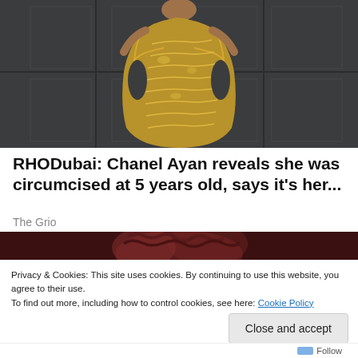[Figure (photo): Person wearing an elaborate gold sequined/beaded dress against a dark gray paneled background]
RHODubai: Chanel Ayan reveals she was circumcised at 5 years old, says it's her...
The Grio
[Figure (photo): Partial photo with dark reddish-brown tones, partially obscured by cookie consent banner]
Privacy & Cookies: This site uses cookies. By continuing to use this website, you agree to their use.
To find out more, including how to control cookies, see here: Cookie Policy
Close and accept